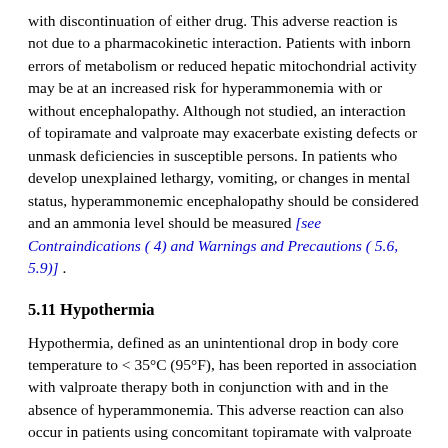with discontinuation of either drug. This adverse reaction is not due to a pharmacokinetic interaction. Patients with inborn errors of metabolism or reduced hepatic mitochondrial activity may be at an increased risk for hyperammonemia with or without encephalopathy. Although not studied, an interaction of topiramate and valproate may exacerbate existing defects or unmask deficiencies in susceptible persons. In patients who develop unexplained lethargy, vomiting, or changes in mental status, hyperammonemic encephalopathy should be considered and an ammonia level should be measured [see Contraindications ( 4) and Warnings and Precautions ( 5.6, 5.9)] .
5.11 Hypothermia
Hypothermia, defined as an unintentional drop in body core temperature to < 35°C (95°F), has been reported in association with valproate therapy both in conjunction with and in the absence of hyperammonemia. This adverse reaction can also occur in patients using concomitant topiramate with valproate after starting topiramate treatment or after increasing the daily dose of topiramate [see Drug Interactions ( 7.3)] . Consideration should be given to stopping valproate in patients who develop hypothermia, which may be manifested by a variety of clinical abnormalities including lethargy, confusion, coma, and significant alterations in other major organ systems such as the